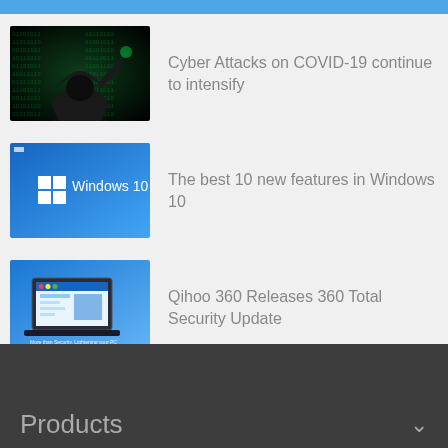[Figure (screenshot): Top blue navigation bar strip]
[Figure (photo): Dark hooded hacker figure in front of a green digital/matrix background]
Cyber Attacks on COVID-19 continue to intensify
[Figure (screenshot): Windows 10 promotional thumbnail with Windows logo and text 'Windows 10' on blue gradient background]
The best 10 new features in Windows 10
[Figure (screenshot): Qihoo 360 Total Security software interface screenshot on blue background with colorful dots at the bottom]
Qihoo 360 Releases 360 Total Security Update
Products